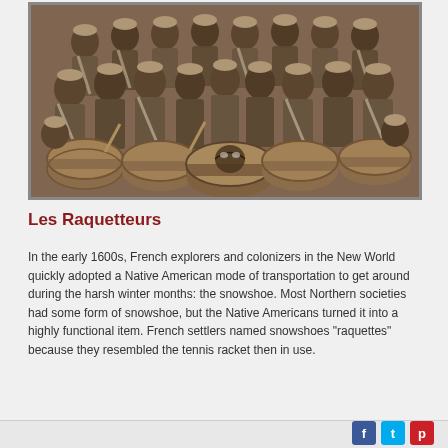[Figure (photo): Sepia-toned historical photograph of a large group of people in uniform holding drums, posed together in rows. The front row has large decorated drums including one with a bird design. Likely a drum corps or marching band.]
Les Raquetteurs
In the early 1600s, French explorers and colonizers in the New World quickly adopted a Native American mode of transportation to get around during the harsh winter months: the snowshoe. Most Northern societies had some form of snowshoe, but the Native Americans turned it into a highly functional item. French settlers named snowshoes "raquettes" because they resembled the tennis racket then in use.